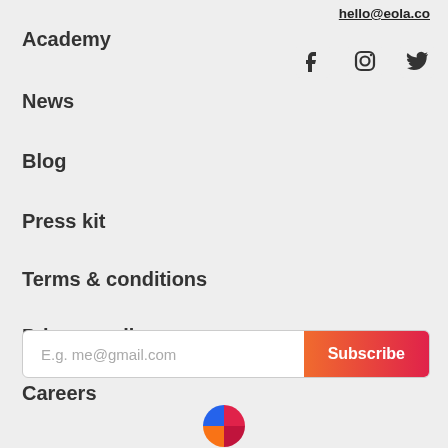hello@eola.co
Academy
News
Blog
Press kit
Terms & conditions
Privacy policy
Careers
[Figure (other): Social media icons: Facebook, Instagram, Twitter]
[Figure (other): Email subscribe input with placeholder 'E.g. me@gmail.com' and Subscribe button]
[Figure (logo): Eola logo: colorful circular pie-chart style icon with blue, red/pink, and orange segments]